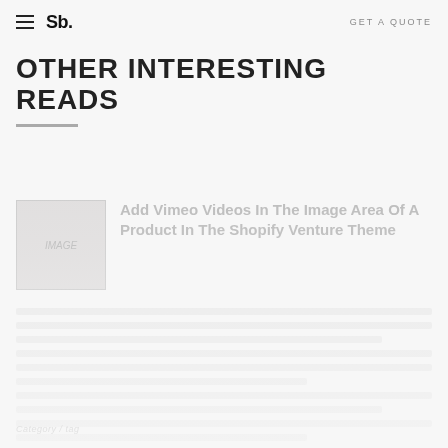Sb. | GET A QUOTE
OTHER INTERESTING READS
[Figure (illustration): Article thumbnail placeholder image with faint 'IMAGE' text overlay]
Add Vimeo Videos In The Image Area Of A Product In The Shopify Venture Theme
Faded article body text lines (blurred/greyed out unreadable text)
Category tag (italic, small, greyed)